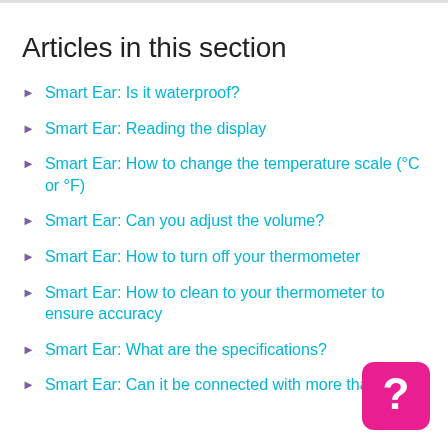Articles in this section
Smart Ear: Is it waterproof?
Smart Ear: Reading the display
Smart Ear: How to change the temperature scale (°C or °F)
Smart Ear: Can you adjust the volume?
Smart Ear: How to turn off your thermometer
Smart Ear: How to clean to your thermometer to ensure accuracy
Smart Ear: What are the specifications?
Smart Ear: Can it be connected with more than